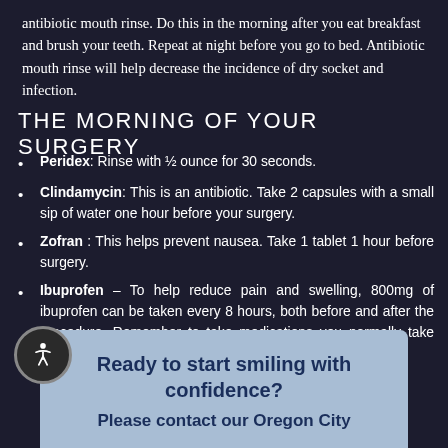antibiotic mouth rinse. Do this in the morning after you eat breakfast and brush your teeth. Repeat at night before you go to bed. Antibiotic mouth rinse will help decrease the incidence of dry socket and infection.
THE MORNING OF YOUR SURGERY
Peridex: Rinse with ½ ounce for 30 seconds.
Clindamycin: This is an antibiotic. Take 2 capsules with a small sip of water one hour before your surgery.
Zofran : This helps prevent nausea. Take 1 tablet 1 hour before surgery.
Ibuprofen – To help reduce pain and swelling, 800mg of ibuprofen can be taken every 8 hours, both before and after the procedure. Remember to take medications you normally take (except insulin) with a small sip of water.
Ready to start smiling with confidence? Please contact our Oregon City